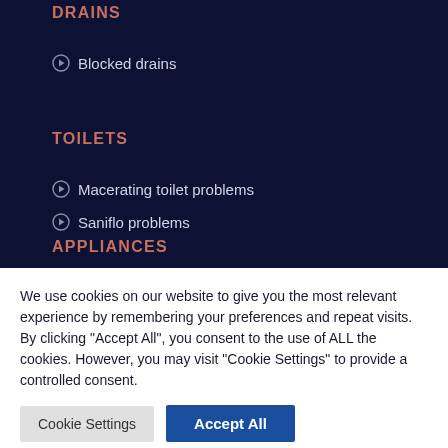DRAINS
Blocked drains
TOILETS
Macerating toilet problems
Saniflo problems
APPLIANCES
We use cookies on our website to give you the most relevant experience by remembering your preferences and repeat visits. By clicking "Accept All", you consent to the use of ALL the cookies. However, you may visit "Cookie Settings" to provide a controlled consent.
Cookie Settings | Accept All